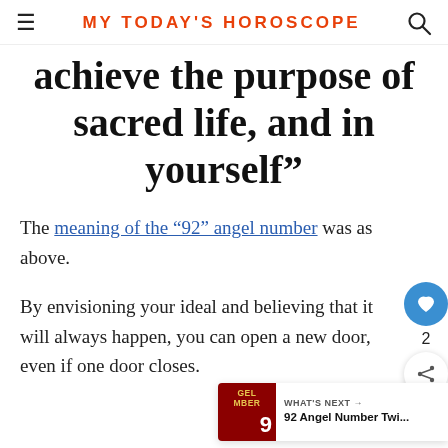MY TODAY'S HOROSCOPE
achieve the purpose of sacred life, and in yourself”
The meaning of the “92” angel number was as above.
By envisioning your ideal and believing that it will always happen, you can open a new door, even if one door closes.
We recommend that you select and organize